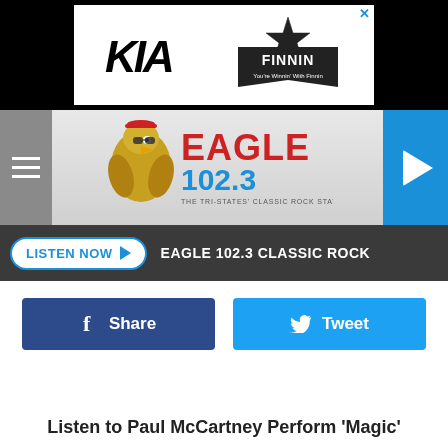[Figure (screenshot): Advertisement banner with Kia logo and Finnin dealership logo on white background with black borders]
[Figure (logo): Eagle 102.3 The Tri-States Classic Rock Station logo with eagle mascot, navigation hamburger menu, and blue play button]
LISTEN NOW  EAGLE 102.3 CLASSIC ROCK
Share
Tweet
Listen to Paul McCartney Perform 'Magic'